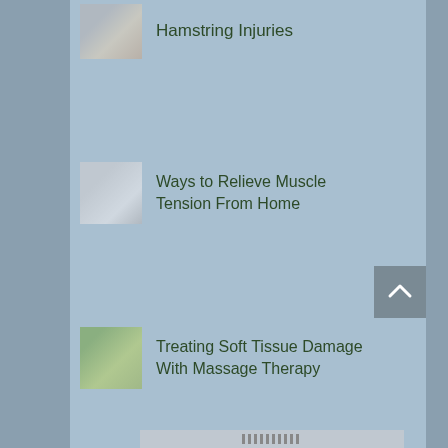Hamstring Injuries
Ways to Relieve Muscle Tension From Home
Treating Soft Tissue Damage With Massage Therapy
Physical Therapy After A Car Accident